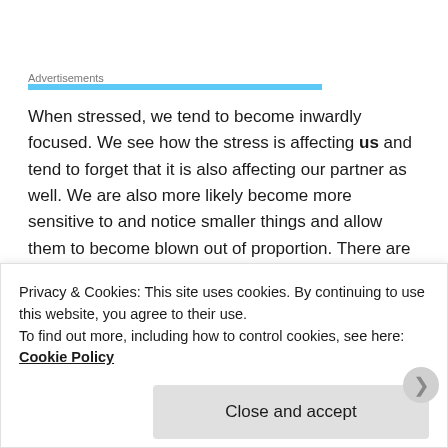Advertisements
When stressed, we tend to become inwardly focused. We see how the stress is affecting us and tend to forget that it is also affecting our partner as well. We are also more likely become more sensitive to and notice smaller things and allow them to become blown out of proportion. There are other issues, but basically high levels of stress can kind of make us selfish jerks.
Well, kids can be rewarding but they can also be a great source of
Privacy & Cookies: This site uses cookies. By continuing to use this website, you agree to their use.
To find out more, including how to control cookies, see here: Cookie Policy
Close and accept